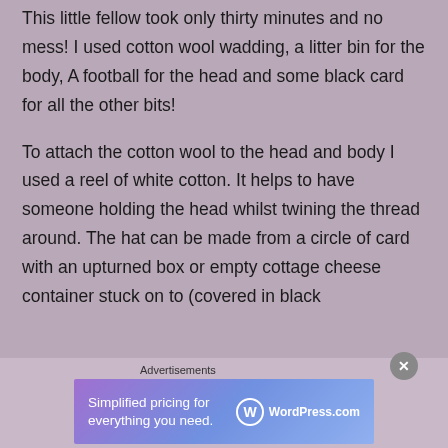This little fellow took only thirty minutes and no mess! I used cotton wool wadding, a litter bin for the body, A football for the head and some black card for all the other bits!
To attach the cotton wool to the head and body I used a reel of white cotton. It helps to have someone holding the head whilst twining the thread around. The hat can be made from a circle of card with an upturned box or empty cottage cheese container stuck on to (covered in black
Advertisements
[Figure (other): WordPress.com advertisement banner: 'Simplified pricing for everything you need.' with WordPress.com logo on gradient purple-blue background]